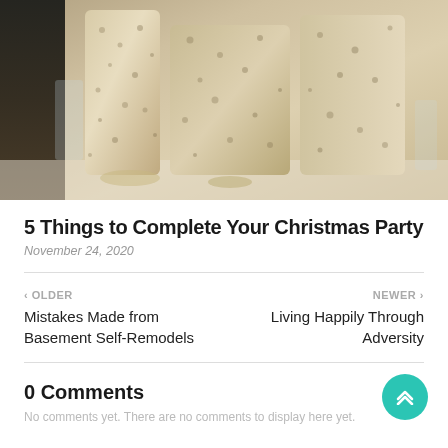[Figure (photo): A close-up photo of decorative Christmas party items — tall cylindrical vases or candle holders covered in beige/cream patterned material, with glassware visible in the background. A dark background is visible on the left side.]
5 Things to Complete Your Christmas Party
November 24, 2020
‹ OLDER
Mistakes Made from Basement Self-Remodels
NEWER ›
Living Happily Through Adversity
0 Comments
No comments yet. There are no comments to display here yet.